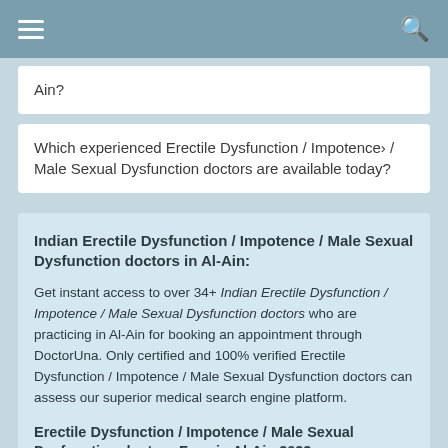Navigation bar with hamburger menu and search icon
Ain?
Which experienced Erectile Dysfunction / Impotence / Male Sexual Dysfunction doctors are available today?
Indian Erectile Dysfunction / Impotence / Male Sexual Dysfunction doctors in Al-Ain:
Get instant access to over 34+ Indian Erectile Dysfunction / Impotence / Male Sexual Dysfunction doctors who are practicing in Al-Ain for booking an appointment through DoctorUna. Only certified and 100% verified Erectile Dysfunction / Impotence / Male Sexual Dysfunction doctors can assess our superior medical search engine platform.
Erectile Dysfunction / Impotence / Male Sexual Dysfunction doctors Fees in Al-Ain 2022: